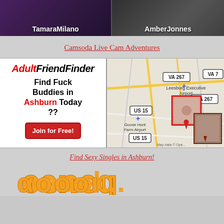[Figure (photo): Two webcam thumbnails side by side: left shows TamaraMilano, right shows AmberJonnes]
TamaraMilano
AmberJonnes
Camsoda Live Cam Adventures
[Figure (infographic): AdultFriendFinder advertisement with logo, text 'Find Fuck Buddies in Ashburn Today ??' and a red Join for Free button]
[Figure (map): Map showing Leesburg Executive Airport area in Virginia with road labels VA 267, VA 7, US 15 and Goose Hunt Farm Airport]
Find Sexy Singles in Ashburn!
[Figure (logo): Partial orange stylized logo text at bottom of page]